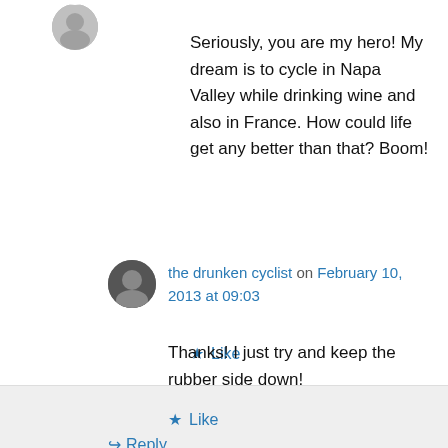[Figure (photo): User avatar icon at top left, partially visible, circular]
Seriously, you are my hero! My dream is to cycle in Napa Valley while drinking wine and also in France. How could life get any better than that? Boom!
★ Like
↳ Reply
[Figure (photo): Avatar of the drunken cyclist, small circular profile photo]
the drunken cyclist on February 10, 2013 at 09:03
Thanks! I just try and keep the rubber side down!
★ Like
↳ Reply